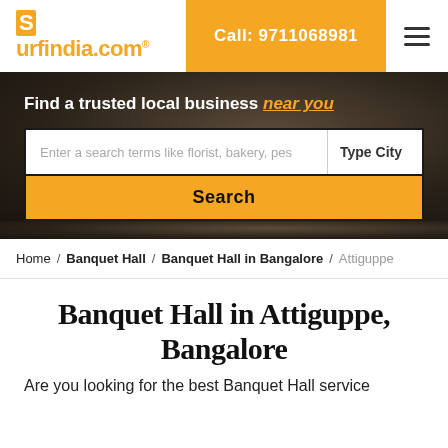surfindia.com | Call: 9711068981
Find a trusted local business near you
Enter a search terms like florist, bakery, pes | Type City | Search
Home / Banquet Hall / Banquet Hall in Bangalore / Attiguppe
Banquet Hall in Attiguppe, Bangalore
Are you looking for the best Banquet Hall service